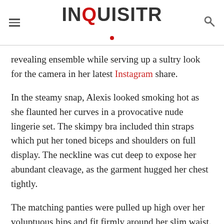INQUISITR
revealing ensemble while serving up a sultry look for the camera in her latest Instagram share.
In the steamy snap, Alexis looked smoking hot as she flaunted her curves in a provocative nude lingerie set. The skimpy bra included thin straps which put her toned biceps and shoulders on full display. The neckline was cut deep to expose her abundant cleavage, as the garment hugged her chest tightly.
The matching panties were pulled up high over her voluptuous hips and fit firmly around her slim waist. The undies emphasized her curves and shapely thighs in the process. A garter belt also